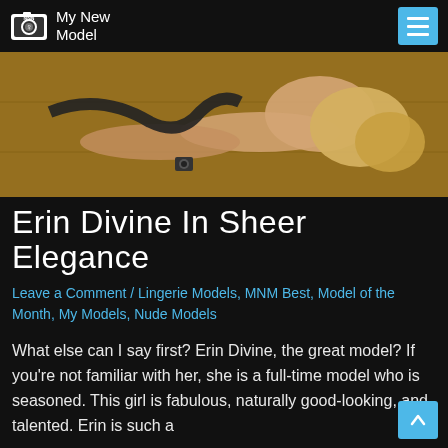My New Model
[Figure (photo): A blonde model lying on a wooden floor, looking upward, with a camera on the floor nearby.]
Erin Divine In Sheer Elegance
Leave a Comment / Lingerie Models, MNM Best, Model of the Month, My Models, Nude Models
What else can I say first? Erin Divine, the great model? If you're not familiar with her, she is a full-time model who is seasoned. This girl is fabulous, naturally good-looking, and talented. Erin is such a